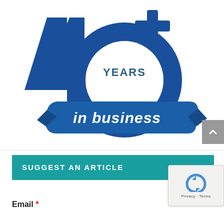[Figure (logo): 40+ Years in Business logo. Large bold blue '40+' text with a circular badge containing 'YEARS' and a blue ribbon banner reading 'in business'.]
SUGGEST AN ARTICLE
Email *